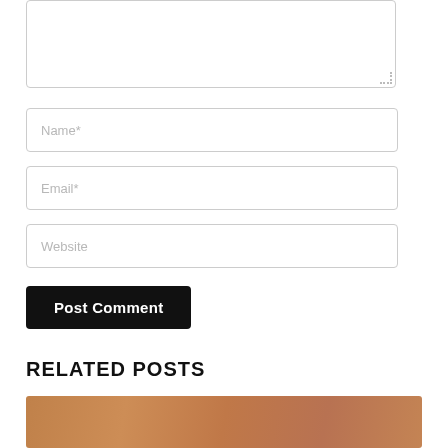[Figure (screenshot): A comment form with a textarea (partially visible at top), followed by Name*, Email*, and Website input fields, a Post Comment button, a Related Posts section header, and the top of a related post thumbnail image.]